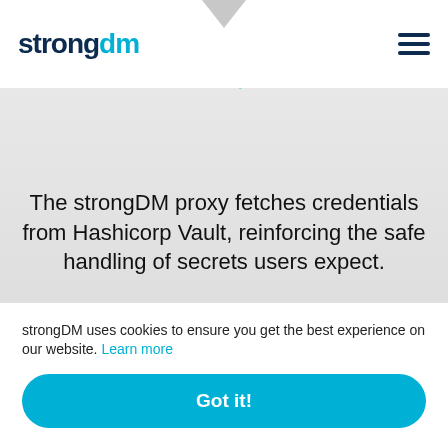[Figure (logo): strongDM logo with 'strong' in dark navy and 'dm' in cyan blue]
[Figure (illustration): Hamburger menu icon (three horizontal lines) in dark navy]
Hashicorp Vault
The strongDM proxy fetches credentials from Hashicorp Vault, reinforcing the safe handling of secrets users expect.
[Figure (logo): Hashicorp Vault orange shield logo with white star]
strongDM uses cookies to ensure you get the best experience on our website. Learn more
Got it!